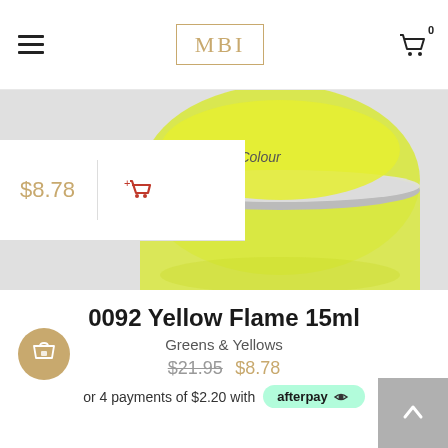MBI
[Figure (photo): A small jar/bottle of Custom Nail Colour with bright yellow-green colour, photographed on a light background.]
0092 Yellow Flame 15ml
Greens & Yellows
$21.95 $8.78
or 4 payments of $2.20 with afterpay